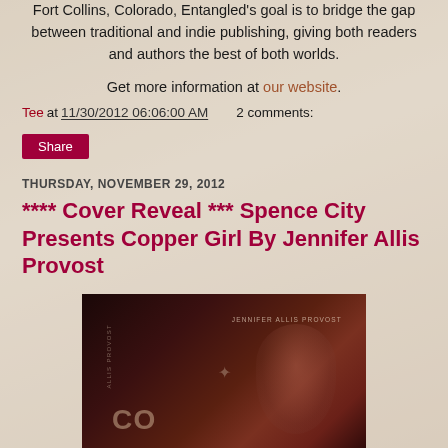Fort Collins, Colorado, Entangled's goal is to bridge the gap between traditional and indie publishing, giving both readers and authors the best of both worlds.
Get more information at our website.
Tee at 11/30/2012 06:06:00 AM   2 comments:
Share
THURSDAY, NOVEMBER 29, 2012
**** Cover Reveal *** Spence City Presents Copper Girl By Jennifer Allis Provost
[Figure (photo): Book cover for Copper Girl by Jennifer Allis Provost — dark reddish-brown cover with author name text and partial face visible on the right side]